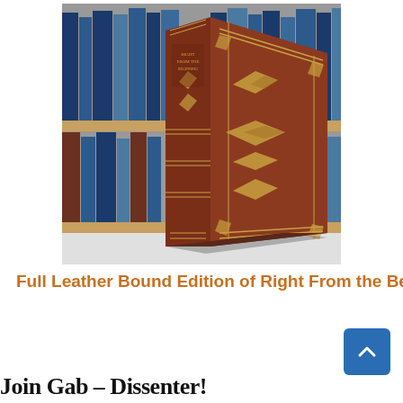[Figure (photo): Photo of a full leather bound book titled 'Right From the Beginning' with ornate gold decorative patterns on the cover and spine, standing upright against a background of bookshelves]
Full Leather Bound Edition of Right From the Beginning, signed by Pat Buchanan Read more....
Join Gab – Dissenter!